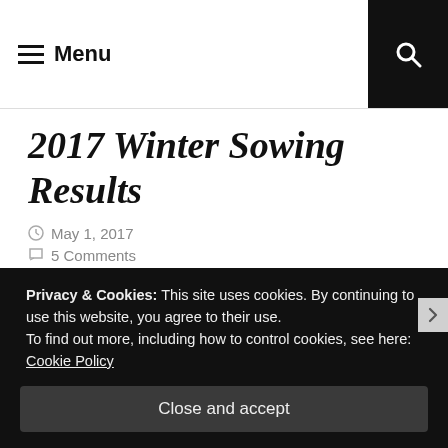Menu
2017 Winter Sowing Results
May 1, 2017
5 Comments
Hi Lovelies! It's definitely been awhile. I'll admit, I really hate saying that because it makes me realize just how much I really do neglect the blog. I always keep
Privacy & Cookies: This site uses cookies. By continuing to use this website, you agree to their use.
To find out more, including how to control cookies, see here: Cookie Policy
Close and accept